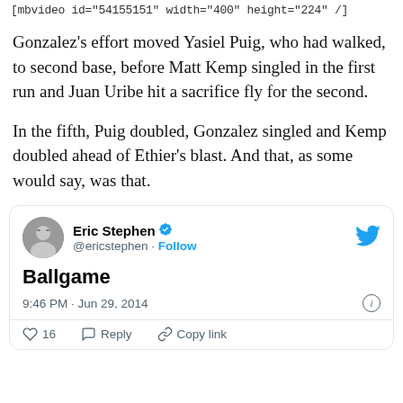[mbvideo id="54155151" width="400" height="224" /]
Gonzalez’s effort moved Yasiel Puig, who had walked, to second base, before Matt Kemp singled in the first run and Juan Uribe hit a sacrifice fly for the second.
In the fifth, Puig doubled, Gonzalez singled and Kemp doubled ahead of Ethier’s blast. And that, as some would say, was that.
[Figure (screenshot): Embedded tweet from @ericstephen (Eric Stephen) with blue verification checkmark. Tweet reads: 'Ballgame'. Posted at 9:46 PM · Jun 29, 2014. Actions show: 16 likes, Reply, Copy link.]